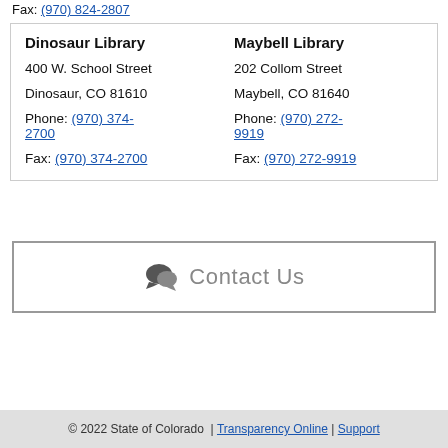Fax: (970) 824-2807
| Dinosaur Library | Maybell Library |
| --- | --- |
| 400 W. School Street | 202 Collom Street |
| Dinosaur, CO 81610 | Maybell, CO 81640 |
| Phone: (970) 374-2700 | Phone: (970) 272-9919 |
| Fax: (970) 374-2700 | Fax: (970) 272-9919 |
Contact Us
© 2022 State of Colorado | Transparency Online | Support